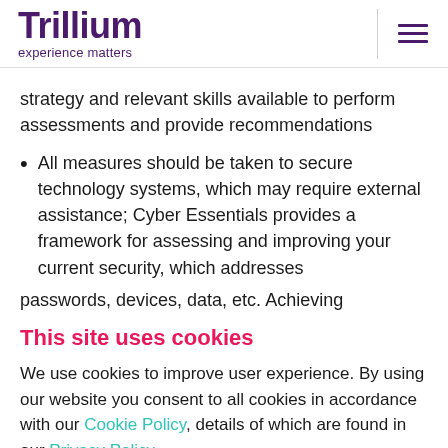Trillium experience matters
strategy and relevant skills available to perform assessments and provide recommendations
All measures should be taken to secure technology systems, which may require external assistance; Cyber Essentials provides a framework for assessing and improving your current security, which addresses passwords, devices, data, etc. Achieving certification
This site uses cookies
We use cookies to improve user experience. By using our website you consent to all cookies in accordance with our Cookie Policy, details of which are found in our Privacy Policy
Accept